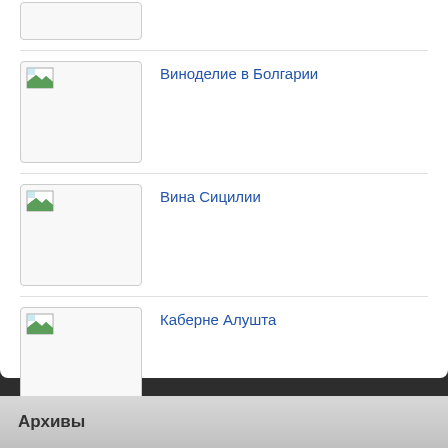(truncated image thumbnail at top)
Виноделие в Болгарии
Вина Сицилии
Каберне Алушта
Энаморе
Архивы